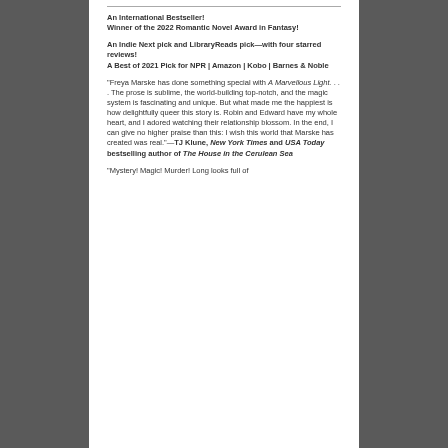An International Bestseller! Winner of the 2022 Romantic Novel Award in Fantasy!
An Indie Next pick and LibraryReads pick—with four starred reviews! A Best of 2021 Pick for NPR | Amazon | Kobo | Barnes & Noble
"Freya Marske has done something special with A Marvellous Light. . . . The prose is sublime, the world-building top-notch, and the magic system is fascinating and unique. But what made me the happiest is how delightfully queer this story is. Robin and Edward have my whole heart, and I adored watching their relationship blossom. In the end, I can give no higher praise than this: I wish this world that Marske has created was real."—TJ Klune, New York Times and USA Today bestselling author of The House in the Cerulean Sea
"Mystery! Magic! Murder! Long looks full of